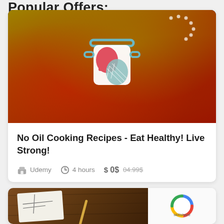Popular Offers:
[Figure (photo): Cooking course thumbnail image showing a woman in kitchen with a cooking app logo overlay (pot with chef hat and oven mitt icons)]
No Oil Cooking Recipes - Eat Healthy! Live Strong!
Udemy   4 hours   $ 0$  04.99$
[Figure (photo): Partial view of second course card showing a drawing/sketch on a wooden table, with a colorful circular logo on the right side]